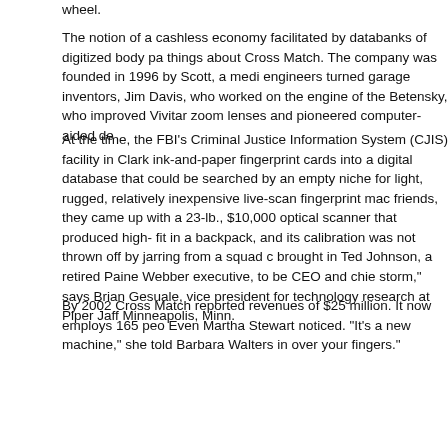wheel.
The notion of a cashless economy facilitated by databanks of digitized body pa things about Cross Match. The company was founded in 1996 by Scott, a medi engineers turned garage inventors, Jim Davis, who worked on the engine of the Betensky, who improved Vivitar zoom lenses and pioneered computer-aided de
At the time, the FBI's Criminal Justice Information System (CJIS) facility in Clark ink-and-paper fingerprint cards into a digital database that could be searched by an empty niche for light, rugged, relatively inexpensive live-scan fingerprint mac friends, they came up with a 23-lb., $10,000 optical scanner that produced high- fit in a backpack, and its calibration was not thrown off by jarring from a squad c brought in Ted Johnson, a retired Paine Webber executive, to be CEO and chie storm," says Brian Gesuale, vice president for technology research at Piper Jaff Minneapolis, Minn.
By 2002 Cross Match reported revenues of $25 million. It now employs 165 peo Even Martha Stewart noticed. "It's a new machine," she told Barbara Walters in over your fingers."
After 9/11, the FBI and the military snapped up Cross Match scanners for deplo fingerprint al-Qaeda and Taliban fighters. Those prints, along with thousands of houses around the globe and from arrests made by allies, were fed into a classi West Virginia fingerprinting facility. Cross Match scanners were sent to Iraq to b Hussein. (Saddam was annoyed, according to agents posted to Iraq. "This is ho protested between printing and mug shots. "That's right," an agent replied. "Now
The FBI wants to use biometrics to fight the problem of anonymity among the m piece is critical," says Ed Worthington, recently the FBI's commander in Baghda some point, we'll know instantaneously, and we'll be able to tell that the guy was huge." FBI officials tell TIME that some insurgents have turned up with ordinary students or visitors. "That's good interrogation material, particularly if they claim assistant director Mike Kirkpatrick, head of the CJIS complex.